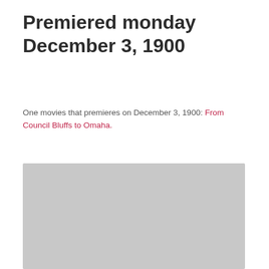Premiered monday December 3, 1900
One movies that premieres on December 3, 1900: From Council Bluffs to Omaha.
[Figure (photo): Gray placeholder image for a movie still or poster]